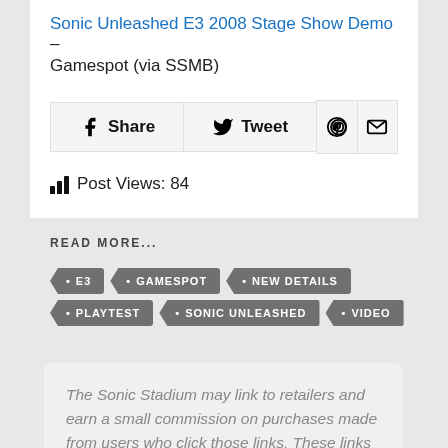Sonic Unleashed E3 2008 Stage Show Demo – Gamespot (via SSMB)
Share  Tweet
Post Views: 84
READ MORE...
E3
GAMESPOT
NEW DETAILS
PLAYTEST
SONIC UNLEASHED
VIDEO
The Sonic Stadium may link to retailers and earn a small commission on purchases made from users who click those links. These links will only appear in articles